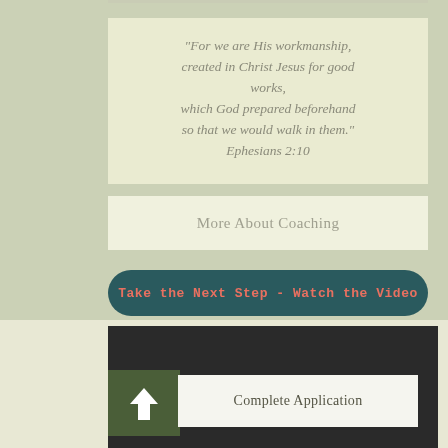"For we are His workmanship, created in Christ Jesus for good works, which God prepared beforehand so that we would walk in them." Ephesians 2:10
More About Coaching
Take the Next Step - Watch the Video
[Figure (screenshot): Dark video player area (black/dark gray rectangle)]
Complete Application